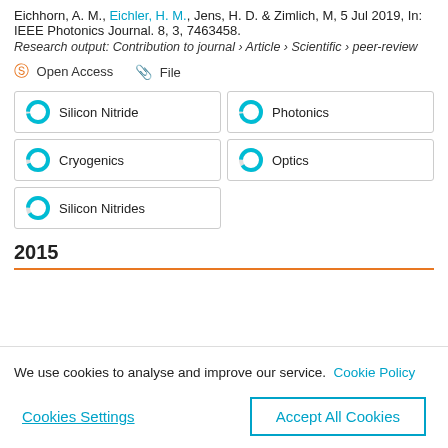Eichhorn, A. M., Eichler, H. M., Jens, H. D. & Zimlich, M, 5 Jul 2019, In: IEEE Photonics Journal. 8, 3, 7463458.
Research output: Contribution to journal › Article › Scientific › peer-review
Open Access   File
Silicon Nitride
Photonics
Cryogenics
Optics
Silicon Nitrides
2015
We use cookies to analyse and improve our service. Cookie Policy
Cookies Settings   Accept All Cookies